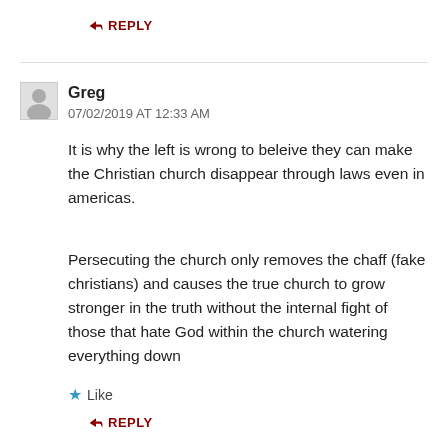↪ REPLY
Greg
07/02/2019 AT 12:33 AM
It is why the left is wrong to beleive they can make the Christian church disappear through laws even in americas.
Persecuting the church only removes the chaff (fake christians) and causes the true church to grow stronger in the truth without the internal fight of those that hate God within the church watering everything down
Like
↪ REPLY